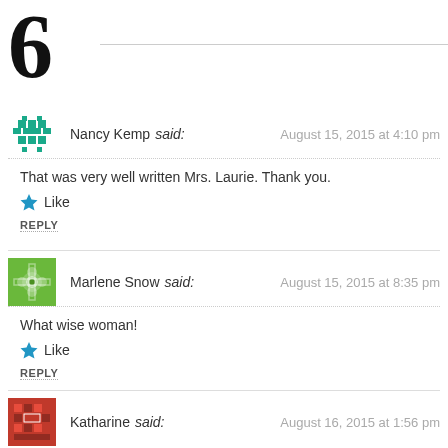6
Nancy Kemp said: August 15, 2015 at 4:10 pm
That was very well written Mrs. Laurie. Thank you.
Like
REPLY
Marlene Snow said: August 15, 2015 at 8:35 pm
What wise woman!
Like
REPLY
Katharine said: August 16, 2015 at 1:56 pm